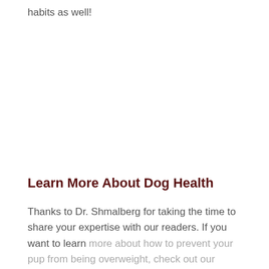habits as well!
Learn More About Dog Health
Thanks to Dr. Shmalberg for taking the time to share your expertise with our readers. If you want to learn more about how to prevent your pup from being overweight, check out our article on how much to feed